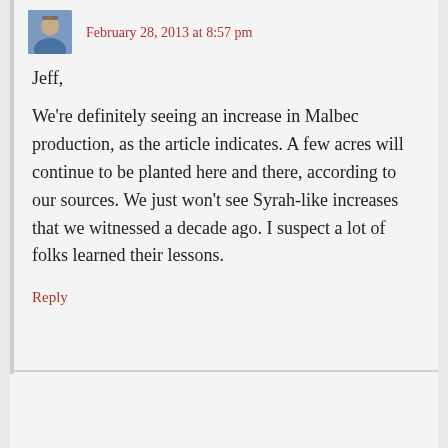February 28, 2013 at 8:57 pm
Jeff,
We're definitely seeing an increase in Malbec production, as the article indicates. A few acres will continue to be planted here and there, according to our sources. We just won't see Syrah-like increases that we witnessed a decade ago. I suspect a lot of folks learned their lessons.
Reply